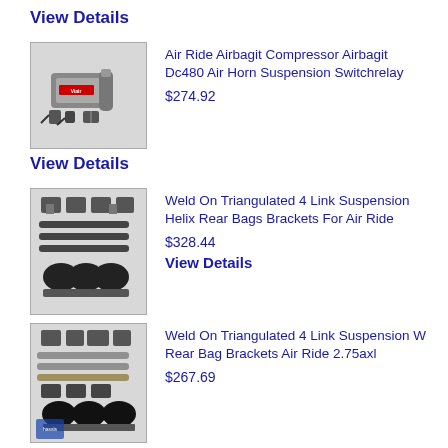View Details
[Figure (photo): Air compressor kit product photo]
Air Ride Airbagit Compressor Airbagit Dc480 Air Horn Suspension Switchrelay
$274.92
View Details
[Figure (photo): Weld on triangulated 4 link suspension kit product photo]
Weld On Triangulated 4 Link Suspension Helix Rear Bags Brackets For Air Ride
$328.44
View Details
[Figure (photo): Weld on triangulated 4 link suspension kit product photo with hassis label]
Weld On Triangulated 4 Link Suspension W Rear Bag Brackets Air Ride 2.75axl
$267.69